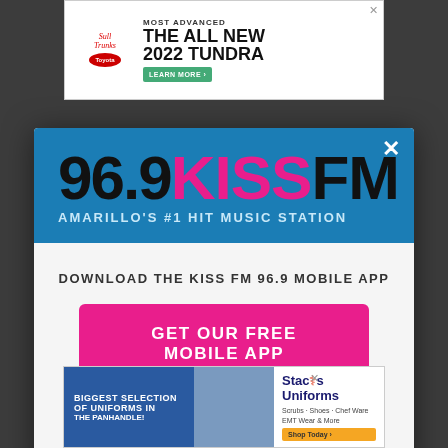[Figure (screenshot): Top advertisement banner for 2022 Toyota Tundra with 'Most Advanced The All New 2022 Tundra' text and 'Learn More' button]
[Figure (screenshot): 96.9 KISS FM modal popup with blue header showing station logo and tagline 'Amarillo's #1 Hit Music Station', white body with download prompt, pink CTA button 'GET OUR FREE MOBILE APP', and Amazon Alexa listen option]
[Figure (screenshot): Bottom advertisement for Stacy's Uniforms with 'Biggest Selection of Uniforms in the Panhandle' text]